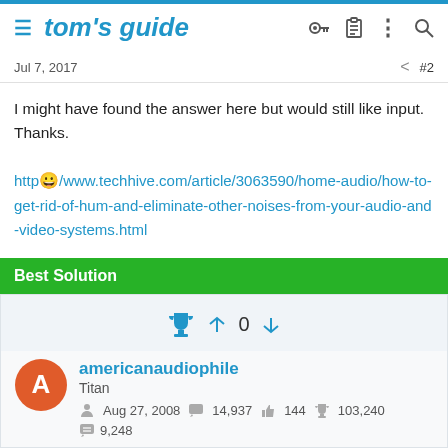tom's guide
Jul 7, 2017   #2
I might have found the answer here but would still like input. Thanks.

http://www.techhive.com/article/3063590/home-audio/how-to-get-rid-of-hum-and-eliminate-other-noises-from-your-audio-and-video-systems.html
Best Solution
americanaudiophile
Titan
Aug 27, 2008  14,937  144  103,240
9,248